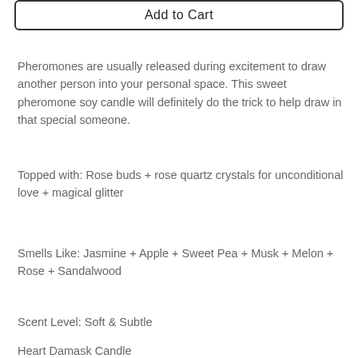[Figure (other): Add to Cart button at the top of the page]
Pheromones are usually released during excitement to draw another person into your personal space. This sweet pheromone soy candle will definitely do the trick to help draw in that special someone.
Topped with: Rose buds + rose quartz crystals for unconditional love + magical glitter
Smells Like: Jasmine + Apple + Sweet Pea + Musk + Melon + Rose + Sandalwood
Scent Level: Soft & Subtle
Heart Damask Candle